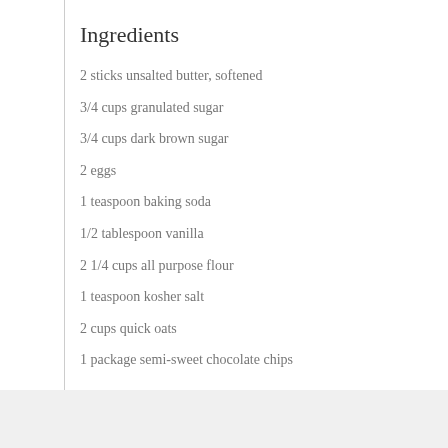Ingredients
2 sticks unsalted butter, softened
3/4 cups granulated sugar
3/4 cups dark brown sugar
2 eggs
1 teaspoon baking soda
1/2 tablespoon vanilla
2 1/4 cups all purpose flour
1 teaspoon kosher salt
2 cups quick oats
1 package semi-sweet chocolate chips
Instructions